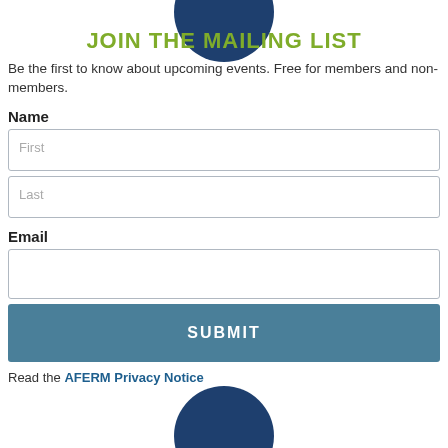[Figure (illustration): Dark navy blue circle partially visible at the top of the page]
JOIN THE MAILING LIST
Be the first to know about upcoming events. Free for members and non-members.
Name
First
Last
Email
SUBMIT
Read the AFERM Privacy Notice
[Figure (illustration): Dark navy blue circle partially visible at the bottom of the page]